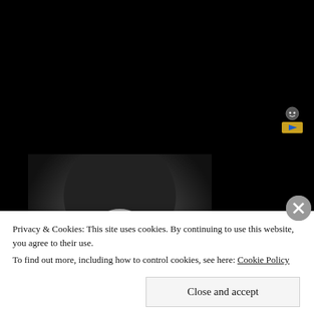[Figure (photo): Small video/streaming icon in top-right corner, black background]
[Figure (photo): Black and white portrait photo of a young man with long hair and round glasses]
Blinkist
[Figure (photo): Photo of a Social Security Administration building exterior with sign reading SOCIAL SECURITY ADMI]
bestmedicareplans.com
Privacy & Cookies: This site uses cookies. By continuing to use this website, you agree to their use.
To find out more, including how to control cookies, see here: Cookie Policy
Close and accept